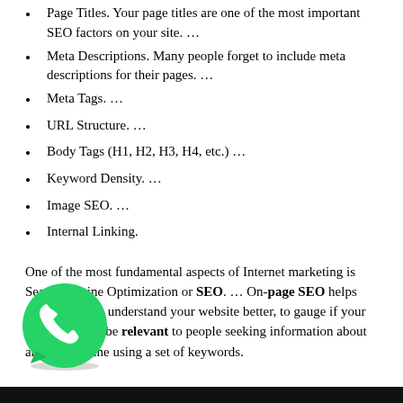Page Titles. Your page titles are one of the most important SEO factors on your site. …
Meta Descriptions. Many people forget to include meta descriptions for their pages. …
Meta Tags. …
URL Structure. …
Body Tags (H1, H2, H3, H4, etc.) …
Keyword Density. …
Image SEO. …
Internal Linking.
One of the most fundamental aspects of Internet marketing is Search Engine Optimization or SEO. … On-page SEO helps search engines understand your website better, to gauge if your content would be relevant to people seeking information about anything online using a set of keywords.
[Figure (logo): WhatsApp logo icon — green circle with white phone handset]